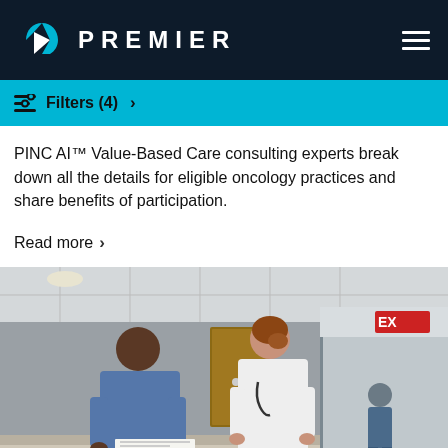PREMIER
Filters (4)
PINC AI™ Value-Based Care consulting experts break down all the details for eligible oncology practices and share benefits of participation.
Read more
[Figure (photo): Two healthcare professionals — a nurse in blue scrubs and a doctor in white coat with stethoscope — reviewing documents together at a hospital nursing station. A third person in scrubs is visible in the background hallway near an EXIT sign.]